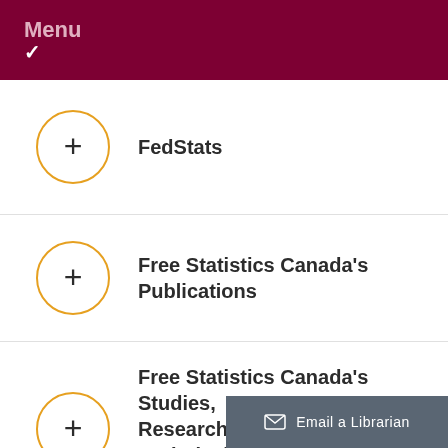Menu
FedStats
Free Statistics Canada's Publications
Free Statistics Canada's Studies, Research Papers and Technical Papers
Email a Librarian